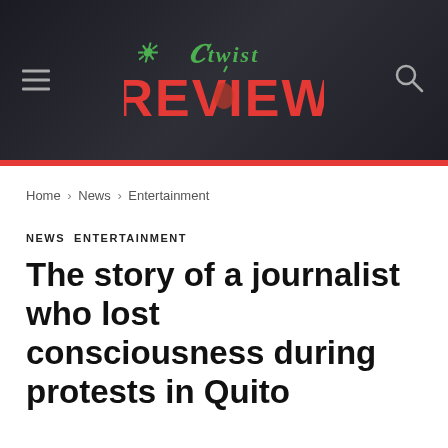Otwist Review
Home › News › Entertainment
NEWS ENTERTAINMENT
The story of a journalist who lost consciousness during protests in Quito